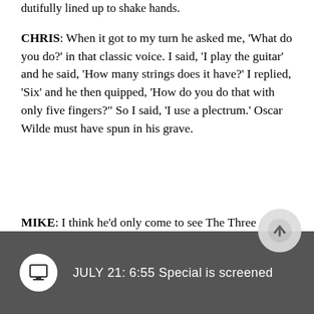dutifully lined up to shake hands.
CHRIS: When it got to my turn he asked me, 'What do you do?' in that classic voice. I said, 'I play the guitar' and he said, 'How many strings does it have?' I replied, 'Six' and he then quipped, 'How do you do that with only five fingers?' So I said, 'I use a plectrum.' Oscar Wilde must have spun in his grave.
MIKE: I think he'd only come to see The Three Degrees really.
JULY 21: 6:55 Special is screened